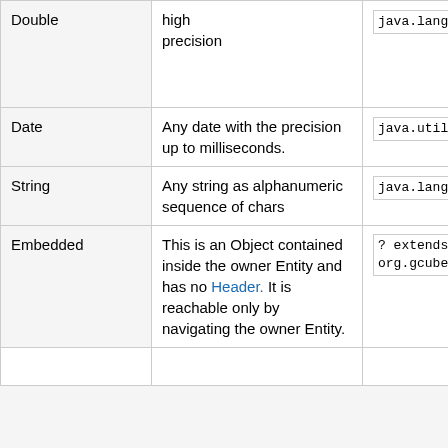| Type | Description | Java Type |
| --- | --- | --- |
| Double | high precision | java.lang.Doub... |
| Date | Any date with the precision up to milliseconds. | java.util.Date |
| String | Any string as alphanumeric sequence of chars | java.lang.Stri... |
| Embedded | This is an Object contained inside the owner Entity and has no Header. It is reachable only by navigating the owner Entity. | ? extends org.gcube.infor... |
|  |  |  |